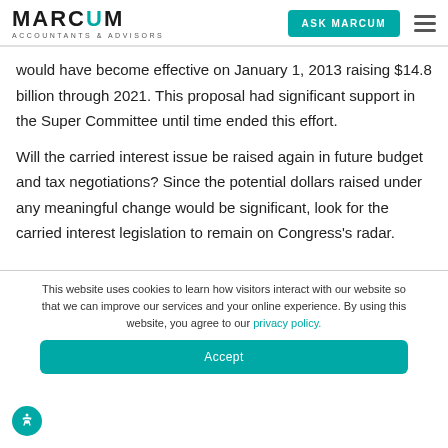MARCUM ACCOUNTANTS & ADVISORS | ASK MARCUM
would have become effective on January 1, 2013 raising $14.8 billion through 2021. This proposal had significant support in the Super Committee until time ended this effort.
Will the carried interest issue be raised again in future budget and tax negotiations? Since the potential dollars raised under any meaningful change would be significant, look for the carried interest legislation to remain on Congress's radar.
This website uses cookies to learn how visitors interact with our website so that we can improve our services and your online experience. By using this website, you agree to our privacy policy.